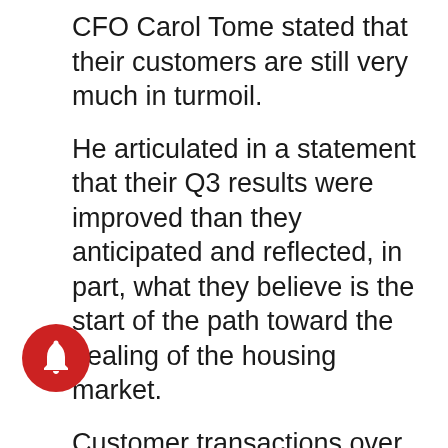CFO Carol Tome stated that their customers are still very much in turmoil.
He articulated in a statement that their Q3 results were improved than they anticipated and reflected, in part, what they believe is the start of the path toward the healing of the housing market.
Customer transactions over $900, around 20% of sales, increased 4.3% during the quarter, driven by buys of appliances, flooring and kitchens.
Moving readers toward the broader market, let's consider percentage change in stocks prices of other stocks in the